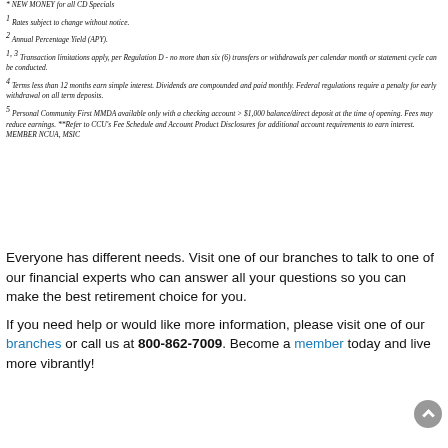* NEW MONEY for all CD Specials
1 Rates subject to change without notice.
2 Annual Percentage Yield (APY).
1, 3 Transaction limitations apply, per Regulation D - no more than six (6) transfers or withdrawals per calendar month or statement cycle can be conducted.
4 Terms less than 12 months earn simple interest. Dividends are compounded and paid monthly. Federal regulations require a penalty for early withdrawal on all term deposits.
5 Personal Community First MMDA available only with a checking account > $1,000 balance/direct deposit at the time of opening. Fees may reduce earnings. **Refer to CCU's Fee Schedule and Account Product Disclosures for additional account requirements to earn interest. MEMBER NCUA, MSIC
Everyone has different needs. Visit one of our branches to talk to one of our financial experts who can answer all your questions so you can make the best retirement choice for you.
If you need help or would like more information, please visit one of our branches or call us at 800-862-7009. Become a member today and live more vibrantly!